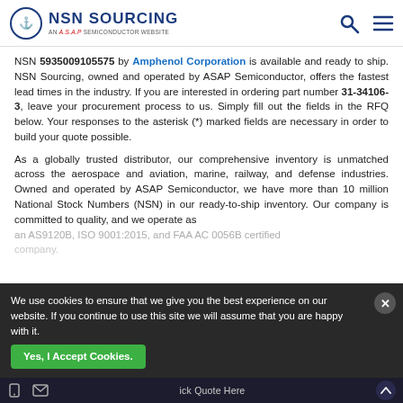NSN SOURCING - AN A.S.A.P SEMICONDUCTOR WEBSITE
NSN 5935009105575 by Amphenol Corporation is available and ready to ship. NSN Sourcing, owned and operated by ASAP Semiconductor, offers the fastest lead times in the industry. If you are interested in ordering part number 31-34106-3, leave your procurement process to us. Simply fill out the fields in the RFQ below. Your responses to the asterisk (*) marked fields are necessary in order to build your quote possible.
As a globally trusted distributor, our comprehensive inventory is unmatched across the aerospace and aviation, marine, railway, and defense industries. Owned and operated by ASAP Semiconductor, we have more than 10 million National Stock Numbers (NSN) in our ready-to-ship inventory. Our company is committed to quality, and we operate as an AS9120B, ISO 9001:2015, and FAA AC 0056B certified company.
We use cookies to ensure that we give you the best experience on our website. If you continue to use this site we will assume that you are happy with it.
Yes, I Accept Cookies.  Quick Quote Here